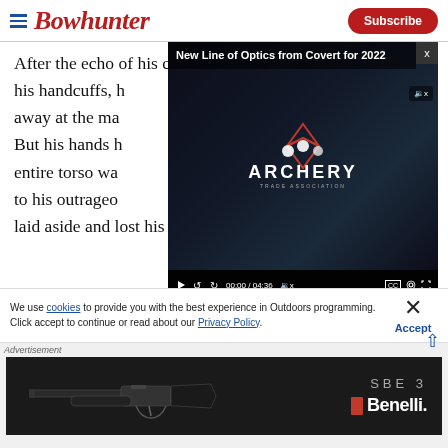Bowhunter
After the echo of his cries died unanswered. Will used his handcuffs, h... away at the ma... But his hands h... entire torso wa... to his outrageo... laid aside and lost his improvised chipping tool
[Figure (screenshot): Embedded video player showing 'New Line of Optics from Covert for 2022' with Archery Trade Association logo thumbnail, video controls showing 00:00 / 04:36]
We use cookies to provide you with the best experience in Outdoors programming. Click accept to continue or read about our Privacy Policy.
[Figure (photo): Benelli SBE3 shotgun advertisement banner showing a black shotgun with Benelli and SBE3 branding]